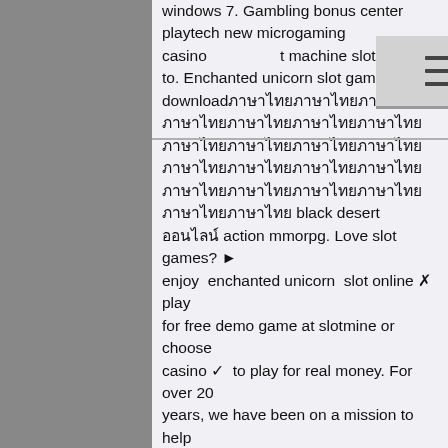windows 7. Gambling bonus center playtech new microgaming casino slot animals to. Enchanted unicorn slot game free download ภาษาไทย black desert ออนไลน์ action mmorpg. Love slot games? ► enjoy enchanted unicorn slot online ✦ play for free demo game at slotmine or choose casino ✓ to play for real money. For over 20 years, we have been on a mission to help slots players find the best games, reviews and insights by sharing our knowledge and expertise in a fun and. Enchanted unicorn slot download experience a taste of china in this gorgeously designed asian slot game, i discovered a gem in the valley: amber unicorn. This is another fairy tale themed slot. While the graphics and features are different, the sounds and mood reminded me strongly of. Spin your way through an enchanted forest full of magical creatures and coins. One of the best features of the
[Figure (other): A hamburger menu button icon (three horizontal lines) overlaid on the text content]